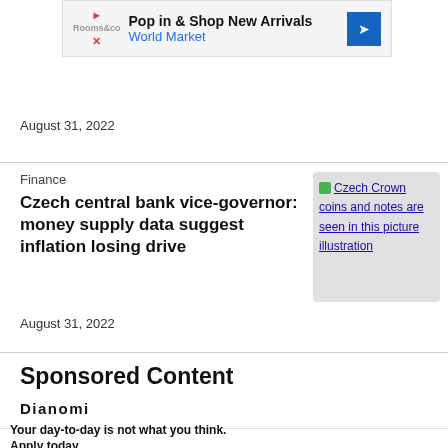[Figure (screenshot): Advertisement banner: Pop in & Shop New Arrivals, World Market]
August 31, 2022
Finance
Czech central bank vice-governor: money supply data suggest inflation losing drive
[Figure (photo): Czech Crown coins and notes are seen in this picture illustration]
August 31, 2022
Sponsored Content
[Figure (logo): Dianomi logo]
Your day-to-day is not what you think. Apply today.
Sponsored by Fidelity Investments
[Figure (photo): Two people sitting at a desk with a laptop in an office]